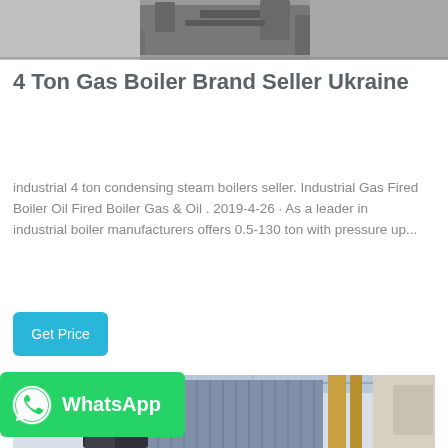[Figure (photo): Top portion of a photo showing industrial boiler equipment in a factory setting, partially cropped]
4 Ton Gas Boiler Brand Seller Ukraine
industrial 4 ton condensing steam boilers seller. Industrial Gas Fired Boiler Oil Fired Boiler Gas & Oil . 2019-4-26 · As a leader in industrial boiler manufacturers offers 0.5-130 ton with pressure up...
[Figure (other): Get Price button — cyan/teal rounded rectangle button]
[Figure (photo): Photo of an industrial boiler facility interior showing large blue/silver cylindrical boiler equipment, pipes, and factory structure]
[Figure (logo): WhatsApp badge: green rounded rectangle with WhatsApp phone icon and 'WhatsApp' text in white bold]